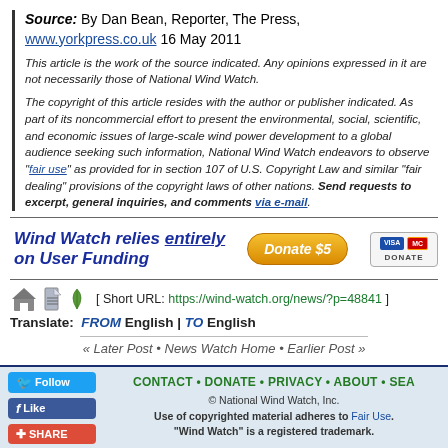Source: By Dan Dan Bean, Reporter, The Press, www.yorkpress.co.uk 16 May 2011
This article is the work of the source indicated. Any opinions expressed in it are not necessarily those of National Wind Watch.
The copyright of this article resides with the author or publisher indicated. As part of its noncommercial effort to present the environmental, social, scientific, and economic issues of large-scale wind power development to a global audience seeking such information, National Wind Watch endeavors to observe "fair use" as provided for in section 107 of U.S. Copyright Law and similar "fair dealing" provisions of the copyright laws of other nations. Send requests to excerpt, general inquiries, and comments via e-mail.
[Figure (infographic): Wind Watch relies entirely on User Funding - Donate $5 button with Visa/Mastercard payment icons]
[ Short URL: https://wind-watch.org/news/?p=48841 ]
Translate: FROM English | TO English
« Later Post • News Watch Home • Earlier Post »
CONTACT • DONATE • PRIVACY • ABOUT • SEARCH | © National Wind Watch, Inc. Use of copyrighted material adheres to Fair Use. "Wind Watch" is a registered trademark.